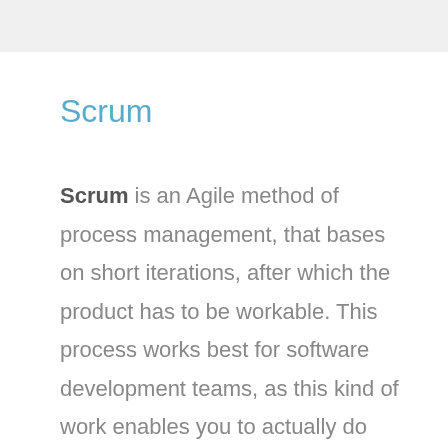Scrum
Scrum is an Agile method of process management, that bases on short iterations, after which the product has to be workable. This process works best for software development teams, as this kind of work enables you to actually do have a version of the product working. Doing Scrum demands